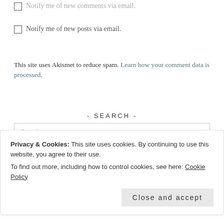Notify me of new comments via email.
Notify me of new posts via email.
This site uses Akismet to reduce spam. Learn how your comment data is processed.
- SEARCH -
Search ...
- Categories -
Personal
Privacy & Cookies: This site uses cookies. By continuing to use this website, you agree to their use. To find out more, including how to control cookies, see here: Cookie Policy
Close and accept